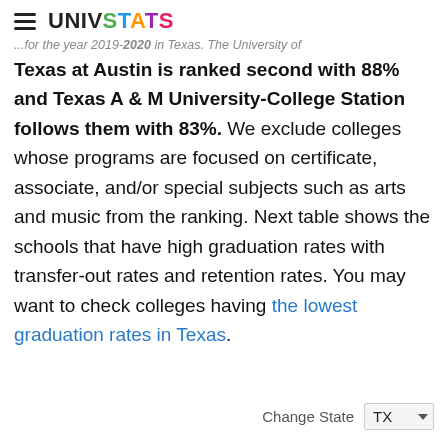UNIVSTATS
...for the year 2019-2020 in Texas. The University of Texas at Austin is ranked second with 88% and Texas A & M University-College Station follows them with 83%. We exclude colleges whose programs are focused on certificate, associate, and/or special subjects such as arts and music from the ranking. Next table shows the schools that have high graduation rates with transfer-out rates and retention rates. You may want to check colleges having the lowest graduation rates in Texas.
Change State TX